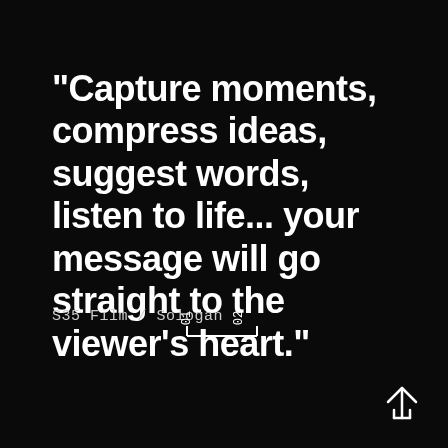"Capture moments, compress ideas, suggest words, listen to life... your message will go straight to the viewer's heart."
S35 Film / Sologan
[Figure (other): Film frame indicator showing two vertical tick marks labeled 01 and 02 with an L-shaped bracket below them]
[Figure (other): Upward-pointing arrow icon (house/upload style) in white outline in the bottom-right corner]